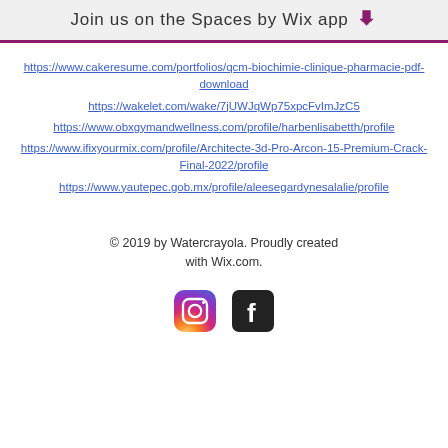Join us on the Spaces by Wix app
https://www.cakeresume.com/portfolios/qcm-biochimie-clinique-pharmacie-pdf-download
https://wakelet.com/wake/7jUWJqWp75xpcFvImJzC5
https://www.obxgymandwellness.com/profile/harbenlisabetth/profile
https://www.ifixyourmix.com/profile/Architecte-3d-Pro-Arcon-15-Premium-Crack-Final-2022/profile
https://www.yautepec.gob.mx/profile/aleesegardynesalalie/profile
© 2019 by Watercrayola. Proudly created with Wix.com.
[Figure (logo): Instagram and Facebook social media icons]